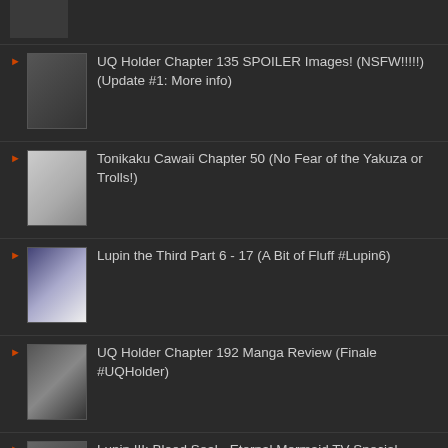UQ Holder Chapter 135 SPOILER Images! (NSFW!!!!!)(Update #1: More info)
Tonikaku Cawaii Chapter 50 (No Fear of the Yakuza or Trolls!)
Lupin the Third Part 6 - 17 (A Bit of Fluff #Lupin6)
UQ Holder Chapter 192 Manga Review (Finale #UQHolder)
Lupin III: Blood Seal - Eternal Mermaid TV Special